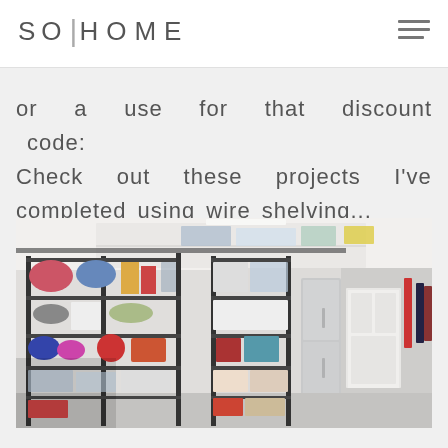SO|HOME
or a use for that discount code: Check out these projects I've completed using wire shelving...
[Figure (photo): Interior of an organized garage with multiple wire shelving units filled with storage bins, boxes, helmets, cookware, and household items. A stainless steel refrigerator is visible in the background, along with a white door and hanging jackets on the right wall.]